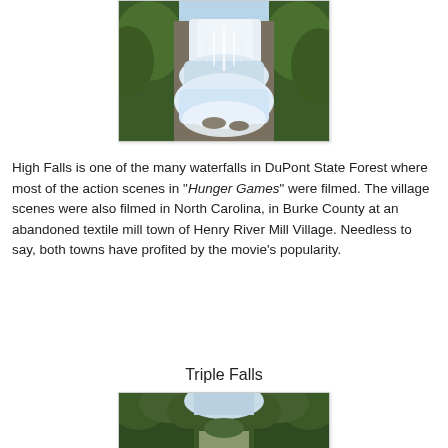[Figure (photo): Aerial/overhead view of a large waterfall (High Falls) cascading through rocks surrounded by dense green forest, photographed in daylight with white rushing water.]
High Falls is one of the many waterfalls in DuPont State Forest where most of the action scenes in "Hunger Games" were filmed.  The village scenes were also filmed in North Carolina, in Burke County at an abandoned textile mill town of Henry River Mill Village.  Needless to say, both towns have profited by the movie's popularity.
Triple Falls
[Figure (photo): View down a forest trail or river gorge with dense green trees on both sides and sky visible in the distance — Triple Falls area.]